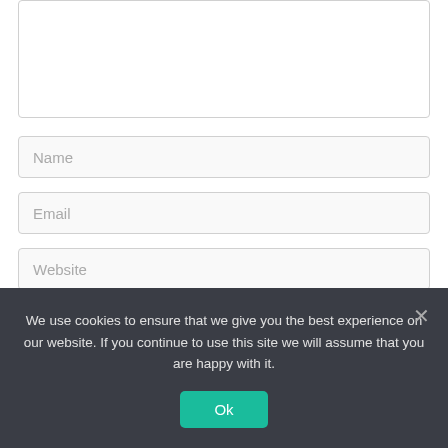[Figure (screenshot): Textarea input field (comment box), empty, with light gray border]
Name
Email
Website
Save my name, email, and website in this browser for the next
We use cookies to ensure that we give you the best experience on our website. If you continue to use this site we will assume that you are happy with it.
Ok